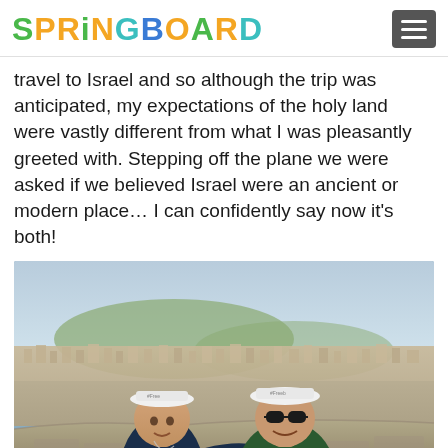SPRINGBOARD
travel to Israel and so although the trip was anticipated, my expectations of the holy land were vastly different from what I was pleasantly greeted with. Stepping off the plane we were asked if we believed Israel were an ancient or modern place… I can confidently say now it's both!
[Figure (photo): Two young men wearing white bucket hats with '#Freebird' text, posing together outdoors on a stone ledge with a panoramic view of Jerusalem cityscape and hillsides in the background under a clear sky.]